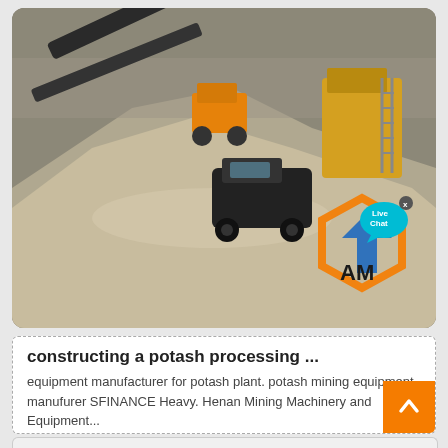[Figure (photo): Outdoor mining/quarry scene showing heavy machinery including excavators, conveyor belts, and construction equipment on a gravel/stone site. Orange and blue hexagonal logo with 'Live Chat' speech bubble overlay in bottom-right of image.]
constructing a potash processing ...
equipment manufacturer for potash plant. potash mining equipment manufurer SFINANCE Heavy. Henan Mining Machinery and Equipment...